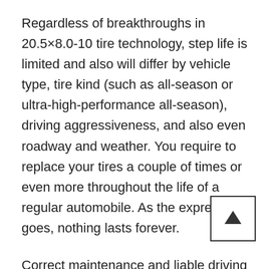Regardless of breakthroughs in 20.5×8.0-10 tire technology, step life is limited and also will differ by vehicle type, tire kind (such as all-season or ultra-high-performance all-season), driving aggressiveness, and also even roadway and weather. You require to replace your tires a couple of times or even more throughout the life of a regular automobile. As the expression goes, nothing lasts forever.
Correct maintenance and liable driving can make the most of the mileage in a collection of tires. Monthly walk evaluations can disclose when the tires call for replacement, well in advance of the government mandated treadwear indications. And also when it comes time to get, you can make use